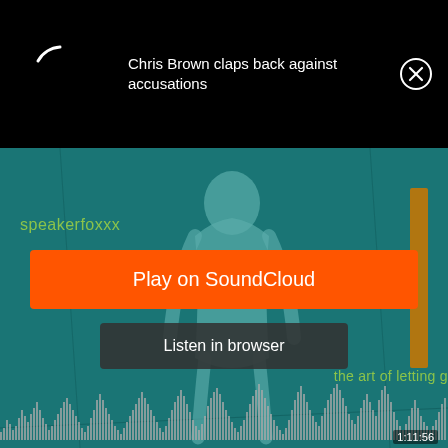[Figure (screenshot): Black notification bar at top with a white arc spinner on the left, notification text 'Chris Brown claps back against accusations' in white, and a circular X close button on the right]
Chris Brown claps back against accusations
[Figure (screenshot): SoundCloud music player widget with teal background showing a silhouette figure, 'speakerfoxxx' artist name in olive/green text, 'the art of letting go' album text, orange 'Play on SoundCloud' button, dark 'Listen in browser' button, and a waveform at the bottom with timestamp 1:11:56]